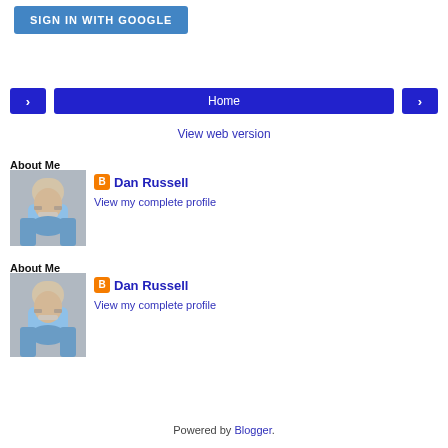[Figure (screenshot): Blue 'SIGN IN WITH GOOGLE' button]
[Figure (screenshot): Navigation bar with left arrow, Home button, and right arrow]
View web version
About Me
[Figure (photo): Profile photo of Dan Russell, older man with white beard and glasses]
Dan Russell
View my complete profile
About Me
[Figure (photo): Profile photo of Dan Russell, older man with white beard and glasses]
Dan Russell
View my complete profile
Powered by Blogger.